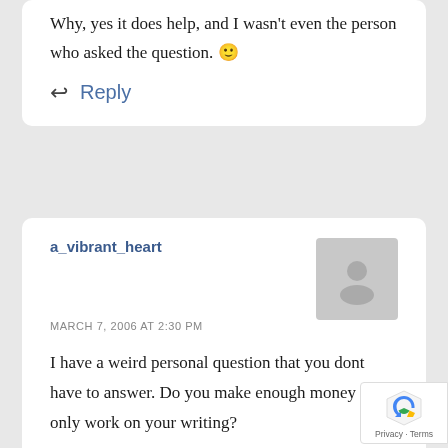Why, yes it does help, and I wasn't even the person who asked the question. 🙂
Reply
a_vibrant_heart
MARCH 7, 2006 AT 2:30 PM
I have a weird personal question that you dont have to answer. Do you make enough money to only work on your writing?